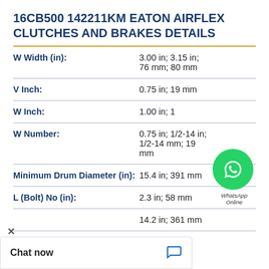16CB500 142211KM EATON AIRFLEX CLUTCHES AND BRAKES DETAILS
| Parameter | Value |
| --- | --- |
| W Width (in): | 3.00 in; 3.15 in; 76 mm; 80 mm |
| V Inch: | 0.75 in; 19 mm |
| W Inch: | 1.00 in; 1 |
| W Number: | 0.75 in; 1/2-14 in; 1/2-14 mm; 19 mm |
| Minimum Drum Diameter (in): | 15.4 in; 391 mm |
| L (Bolt) No (in): | 2.3 in; 58 mm |
|  | 14.2 in; 361 mm |